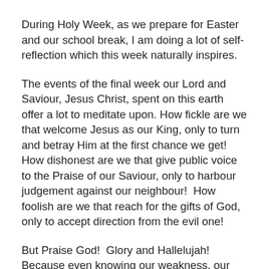During Holy Week, as we prepare for Easter and our school break, I am doing a lot of self-reflection which this week naturally inspires.
The events of the final week our Lord and Saviour, Jesus Christ, spent on this earth offer a lot to meditate upon. How fickle are we that welcome Jesus as our King, only to turn and betray Him at the first chance we get!  How dishonest are we that give public voice to the Praise of our Saviour, only to harbour judgement against our neighbour!  How foolish are we that reach for the gifts of God, only to accept direction from the evil one!
But Praise God!  Glory and Hallelujah!  Because even knowing our weakness, our Lord Jesus Christ, Son of God, has mercy on us, sinners. He saves us from death and darkness in spite of our sin.
There can be only one response to what our Father has